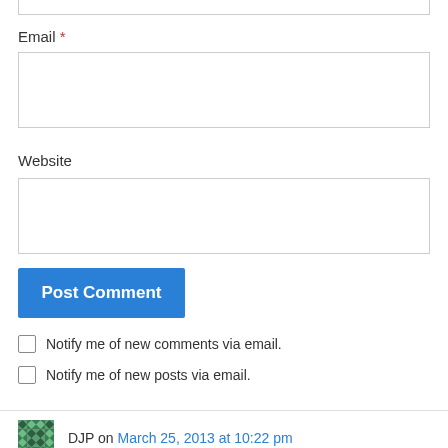Email *
Website
Post Comment
Notify me of new comments via email.
Notify me of new posts via email.
DJP on March 25, 2013 at 10:22 pm